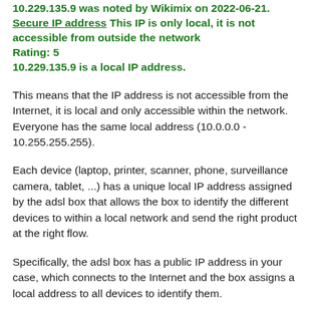10.229.135.9 was noted by Wikimix on 2022-06-21. Secure IP address This IP is only local, it is not accessible from outside the network
Rating: 5
10.229.135.9 is a local IP address.
This means that the IP address is not accessible from the Internet, it is local and only accessible within the network. Everyone has the same local address (10.0.0.0 - 10.255.255.255).
Each device (laptop, printer, scanner, phone, surveillance camera, tablet, ...) has a unique local IP address assigned by the adsl box that allows the box to identify the different devices to within a local network and send the right product at the right flow.
Specifically, the adsl box has a public IP address in your case, which connects to the Internet and the box assigns a local address to all devices to identify them.